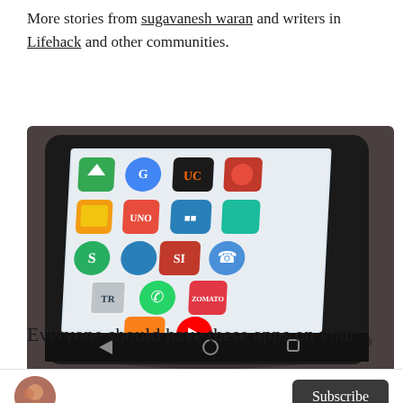More stories from sugavanesh waran and writers in Lifehack and other communities.
[Figure (photo): A smartphone lying on a dark surface with its screen showing a grid of mobile app icons including WhatsApp, YouTube, Swiggy, UCBrowser, and others.]
Everyone should have these apps on your
Subscribe